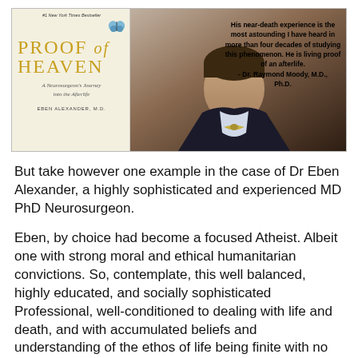[Figure (photo): Composite image showing the book cover of 'Proof of Heaven: A Neurosurgeon's Journey into the Afterlife' by Eben Alexander, M.D. on the left, and a photo of a man in a suit with a quote overlaid on the right reading: 'His near-death experience is the most astounding I have heard in more than four decades of studying this phenomenon. He is living proof of an afterlife. - Dr. Raymond Moody, M.D., Ph.D.']
But take however one example in the case of Dr Eben Alexander, a highly sophisticated and experienced MD PhD Neurosurgeon.
Eben, by choice had become a focused Atheist. Albeit one with strong moral and ethical humanitarian convictions. So, contemplate, this well balanced, highly educated, and socially sophisticated Professional, well-conditioned to dealing with life and death, and with accumulated beliefs and understanding of the ethos of life being finite with no existence beyond. Logic dictates that, and Eben was